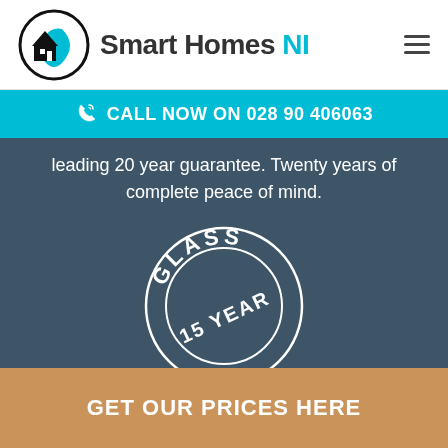[Figure (logo): Smart Homes NI logo with house and water drop icon in black and teal, followed by brand name 'Smart Homes NI' in dark and teal text, hamburger menu icon on right]
CALL NOW ON 028 90 406063
leading 20 year guarantee. Twenty years of complete peace of mind.
[Figure (illustration): Circular badge/stamp with 'GLASS' at top and '15 YEAR' text, double circle border, white on dark teal background]
GET OUR PRICES HERE